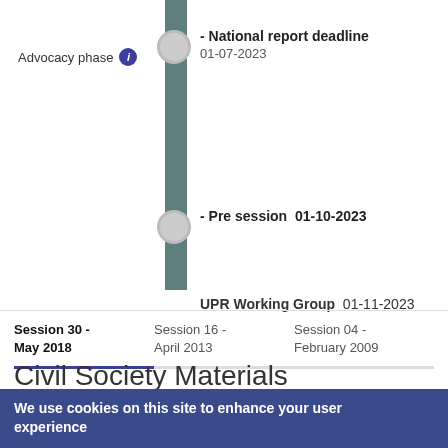Advocacy phase i
[Figure (infographic): Timeline with vertical bar showing two milestones: National report deadline 01-07-2023 and Pre session 01-10-2023, plus UPR Working Group 01-11-2023]
National report deadline 01-07-2023
Pre session  01-10-2023
UPR Working Group  01-11-2023
Session 30 - May 2018
Session 16 - April 2013
Session 04 - February 2009
Civil Society Materials
We use cookies on this site to enhance your user experience